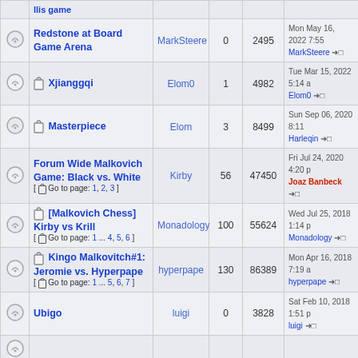|  | Topic | Author | Replies | Views | Last Post |
| --- | --- | --- | --- | --- | --- |
|  | Redstone at Board Game Arena | MarkSteere | 0 | 2495 | Mon May 16, 2022 7:55 MarkSteere →□ |
|  | 📎 Xjianggqi | Elom0 | 1 | 4982 | Tue Mar 15, 2022 5:14 Elom0 →□ |
|  | 📎 Masterpiece | Elom | 3 | 8499 | Sun Sep 06, 2020 8:11 Harleqin →□ |
|  | Forum Wide Malkovich Game: Black vs. White [ Go to page: 1, 2, 3 ] | Kirby | 56 | 47450 | Fri Jul 24, 2020 4:20 Joaz Banbeck →□ |
|  | 📎 [Malkovich Chess] Kirby vs Krill [ Go to page: 1 ... 4, 5, 6 ] | Monadology | 100 | 55624 | Wed Jul 25, 2018 1:14 Monadology →□ |
|  | 📎 Kingo Malkovitch#1: Jeromie vs. Hyperpape [ Go to page: 1 ... 5, 6, 7 ] | hyperpape | 130 | 86389 | Mon Apr 16, 2018 7:19 hyperpape →□ |
|  | Ubigo | luigi | 0 | 3828 | Sat Feb 10, 2018 1:51 luigi →□ |